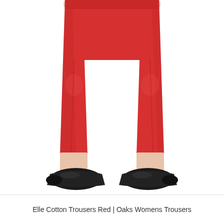[Figure (photo): A person wearing red slim-fit cotton trousers cropped above the ankle, paired with black flat loafer shoes. The image shows the lower body from approximately the waist/hip area down, against a white background.]
Elle Cotton Trousers Red | Oaks Womens Trousers